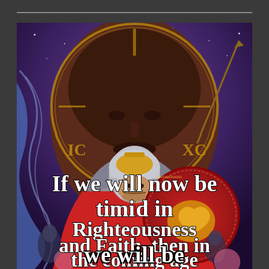[Figure (illustration): A medieval Russian warrior in scale armor and a gold-crested helmet, holding a large red round shield with a golden lion/griffin emblem, set against a background icon-style painting of Christ (Byzantine/Orthodox style) with Cyrillic letters IC XC. The warrior stands in front of a snowy/starry blue-purple sky with swirling patterns. Other armored soldiers are visible in the background. Overlaid on the lower half of the image is a white bold text quote.]
If we will now be timid in Righteousness and Faith, then in the coming age we will be